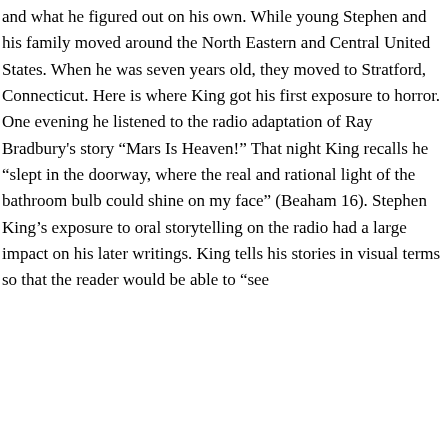and what he figured out on his own. While young Stephen and his family moved around the North Eastern and Central United States. When he was seven years old, they moved to Stratford, Connecticut. Here is where King got his first exposure to horror. One evening he listened to the radio adaptation of Ray Bradbury's story “Mars Is Heaven!” That night King recalls he “slept in the doorway, where the real and rational light of the bathroom bulb could shine on my face” (Beaham 16). Stephen King’s exposure to oral storytelling on the radio had a large impact on his later writings. King tells his stories in visual terms so that the reader would be able to “see